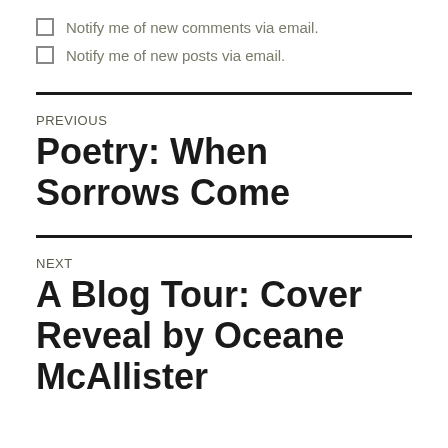Notify me of new comments via email.
Notify me of new posts via email.
PREVIOUS
Poetry: When Sorrows Come
NEXT
A Blog Tour: Cover Reveal by Oceane McAllister